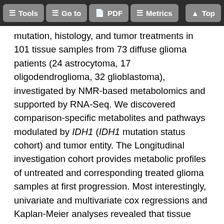Tools  Go to  PDF  Metrics  Top
mutation, histology, and tumor treatments in 101 tissue samples from 73 diffuse glioma patients (24 astrocytoma, 17 oligodendroglioma, 32 glioblastoma), investigated by NMR-based metabolomics and supported by RNA-Seq. We discovered comparison-specific metabolites and pathways modulated by IDH1 (IDH1 mutation status cohort) and tumor entity. The Longitudinal investigation cohort provides metabolic profiles of untreated and corresponding treated glioma samples at first progression. Most interestingly, univariate and multivariate cox regressions and Kaplan-Meier analyses revealed that tissue metabolites correlate with progression-free and overall survival. Thus, this study introduces potentially novel candidate prognostic and surrogate metabolite biomarkers for